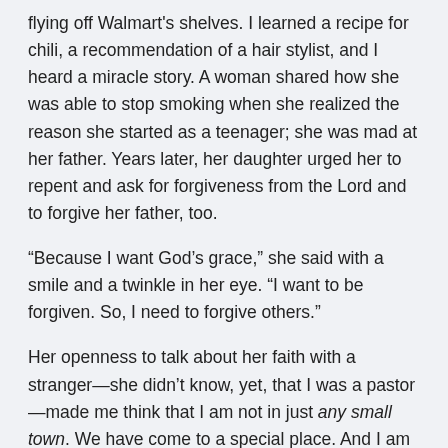flying off Walmart's shelves. I learned a recipe for chili, a recommendation of a hair stylist, and I heard a miracle story. A woman shared how she was able to stop smoking when she realized the reason she started as a teenager; she was mad at her father. Years later, her daughter urged her to repent and ask for forgiveness from the Lord and to forgive her father, too.
“Because I want God’s grace,” she said with a smile and a twinkle in her eye. “I want to be forgiven. So, I need to forgive others.”
Her openness to talk about her faith with a stranger—she didn’t know, yet, that I was a pastor—made me think that I am not in just any small town. We have come to a special place. And I am truly blessed!